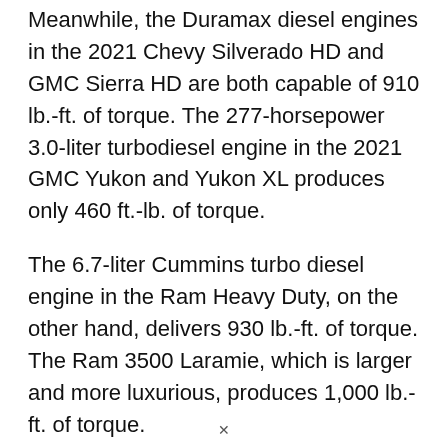Meanwhile, the Duramax diesel engines in the 2021 Chevy Silverado HD and GMC Sierra HD are both capable of 910 lb.-ft. of torque. The 277-horsepower 3.0-liter turbodiesel engine in the 2021 GMC Yukon and Yukon XL produces only 460 ft.-lb. of torque.
The 6.7-liter Cummins turbo diesel engine in the Ram Heavy Duty, on the other hand, delivers 930 lb.-ft. of torque. The Ram 3500 Laramie, which is larger and more luxurious, produces 1,000 lb.-ft. of torque.
Apart from the smaller GMC, all of the domestic models have similar torque levels. Other elements, like as how much they weigh and how much optional equipment they must carry at all times,